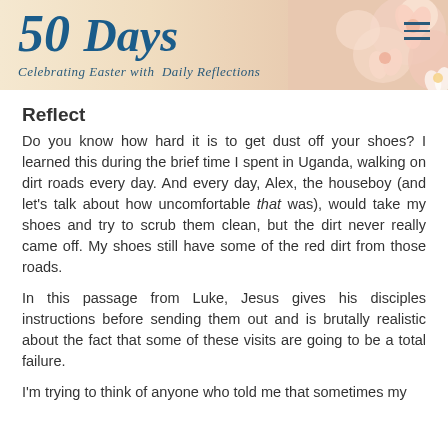[Figure (illustration): Header banner for '50 Days: Celebrating Easter with Daily Reflections' with floral background (pink flowers) and navigation hamburger menu icon]
Reflect
Do you know how hard it is to get dust off your shoes? I learned this during the brief time I spent in Uganda, walking on dirt roads every day. And every day, Alex, the houseboy (and let's talk about how uncomfortable that was), would take my shoes and try to scrub them clean, but the dirt never really came off. My shoes still have some of the red dirt from those roads.
In this passage from Luke, Jesus gives his disciples instructions before sending them out and is brutally realistic about the fact that some of these visits are going to be a total failure.
I'm trying to think of anyone who told me that sometimes my